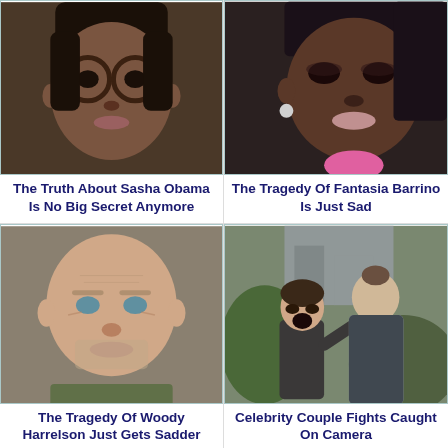[Figure (photo): Close-up photo of a young Black woman with glasses]
The Truth About Sasha Obama Is No Big Secret Anymore
[Figure (photo): Close-up photo of a Black woman with pink earrings and makeup]
The Tragedy Of Fantasia Barrino Is Just Sad
[Figure (photo): Close-up photo of an older bald white man with stubble]
The Tragedy Of Woody Harrelson Just Gets Sadder
[Figure (photo): Photo of a couple arguing outdoors, woman yelling at man]
Celebrity Couple Fights Caught On Camera